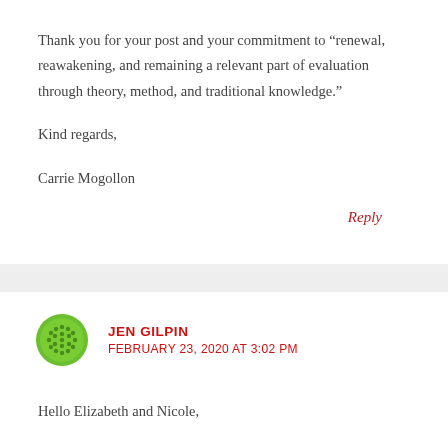Thank you for your post and your commitment to “renewal, reawakening, and remaining a relevant part of evaluation through theory, method, and traditional knowledge.”

Kind regards,

Carrie Mogollon
Reply
JEN GILPIN
FEBRUARY 23, 2020 AT 3:02 PM
Hello Elizabeth and Nicole,